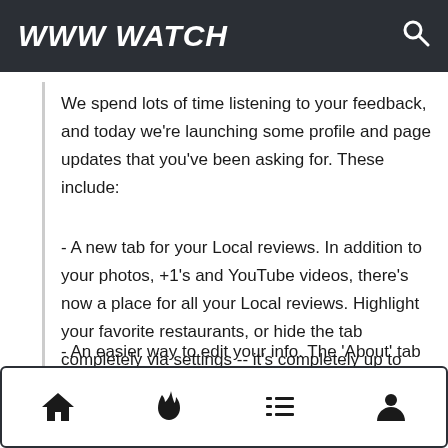WWW WATCH
We spend lots of time listening to your feedback, and today we're launching some profile and page updates that you've been asking for. These include:
- A new tab for your Local reviews. In addition to your photos, +1's and YouTube videos, there's now a place for all your Local reviews. Highlight your favorite restaurants, or hide the tab completely via settings -- it's completely up to you.
- An easier way to edit your info. The 'About' tab now